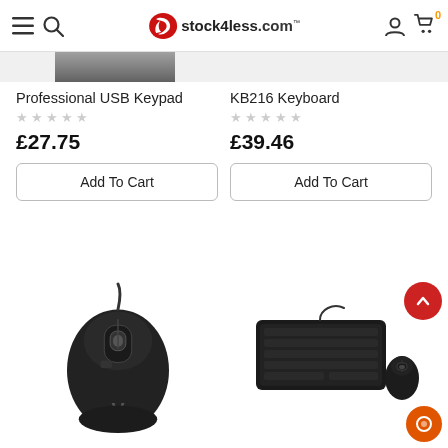stock4less.com
Professional USB Keypad
★★★★★
£27.75
Add To Cart
KB216 Keyboard
★★★★★
£39.46
Add To Cart
[Figure (photo): Black USB computer mouse with V logo, wired]
[Figure (photo): Black keyboard and mouse combo set]